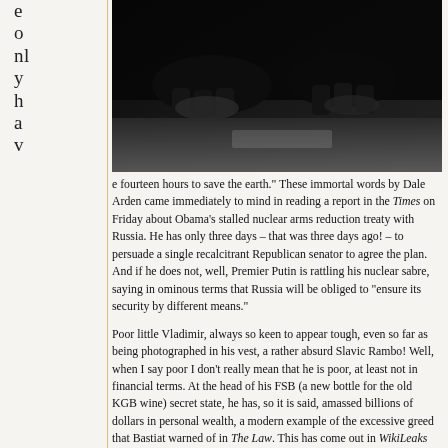e only hav
[Figure (photo): Black and white close-up photograph of a person's hands on a surface, viewed from below, dark and high-contrast image]
e fourteen hours to save the earth." These immortal words by Dale Arden came immediately to mind in reading a report in the Times on Friday about Obama's stalled nuclear arms reduction treaty with Russia. He has only three days – that was three days ago! – to persuade a single recalcitrant Republican senator to agree the plan. And if he does not, well, Premier Putin is rattling his nuclear sabre, saying in ominous terms that Russia will be obliged to "ensure its security by different means."

Poor little Vladimir, always so keen to appear tough, even so far as being photographed in his vest, a rather absurd Slavic Rambo! Well, when I say poor I don't really mean that he is poor, at least not in financial terms. At the head of his FSB (a new bottle for the old KGB wine) secret state, he has, so it is said, amassed billions of dollars in personal wealth, a modern example of the excessive greed that Bastiat warned of in The Law. This has come out in WikiLeaks but